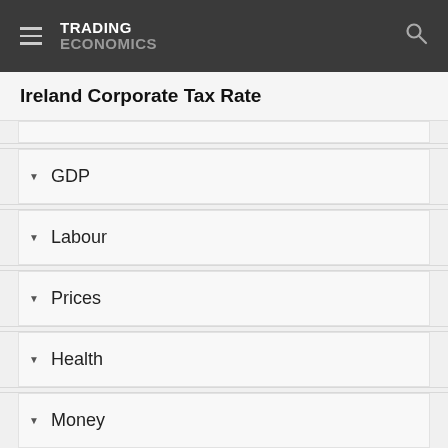TRADING ECONOMICS
Ireland Corporate Tax Rate
GDP
Labour
Prices
Health
Money
Trade
Government